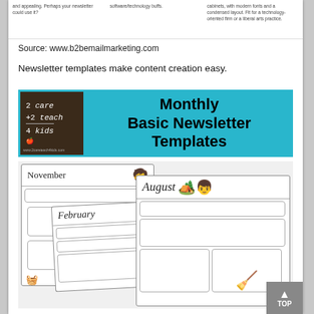and appealing. Perhaps your newsletter could use it?
software/technology buffs.
cabinets, with modern fonts and a condensed layout. Fit for a technology-oriented firm or a liberal arts practice.
Source: www.b2bemailmarketing.com
Newsletter templates make content creation easy.
[Figure (illustration): Banner for '2 care 2 teach 4 kids' Monthly Basic Newsletter Templates on teal background with chalkboard logo]
[Figure (screenshot): Preview of monthly newsletter templates showing November, February, and August themed newsletter pages with cartoon clip art]